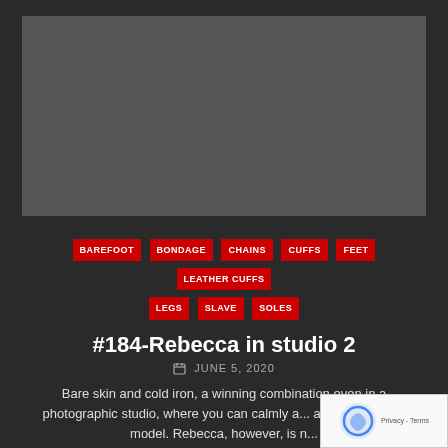[Figure (photo): Dark gray placeholder image area representing a studio photo]
BAREFOOT
BONDAGE
CHAINS
CUFFS
FEET
LEATHER CUFFS
LEGS
SLAVE
SOLES
#184-Rebecca in studio 2
JUNE 5, 2020
Bare skin and cold iron, a winning combination even in a photographic studio, where you can calmly and position the model. Rebecca, however, is not only a model; she is also a slave, and as such she very...